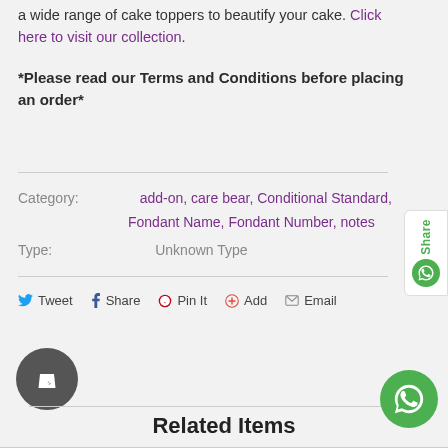a wide range of cake toppers to beautify your cake. Click here to visit our collection.
*Please read our Terms and Conditions before placing an order*
Category: add-on, care bear, Conditional Standard, Fondant Name, Fondant Number, notes
Type: Unknown Type
Tweet  Share  Pin It  Add  Email
Related Items